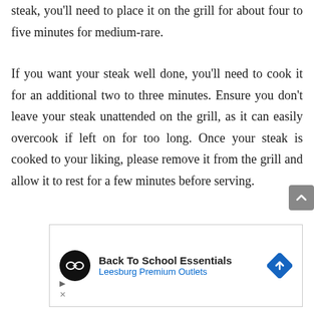steak, you'll need to place it on the grill for about four to five minutes for medium-rare.
If you want your steak well done, you'll need to cook it for an additional two to three minutes. Ensure you don't leave your steak unattended on the grill, as it can easily overcook if left on for too long. Once your steak is cooked to your liking, please remove it from the grill and allow it to rest for a few minutes before serving.
[Figure (other): Advertisement banner: Back To School Essentials - Leesburg Premium Outlets. Shows a circular black logo with glasses icon on left, text in center, and a blue diamond-shaped navigation arrow icon on right.]